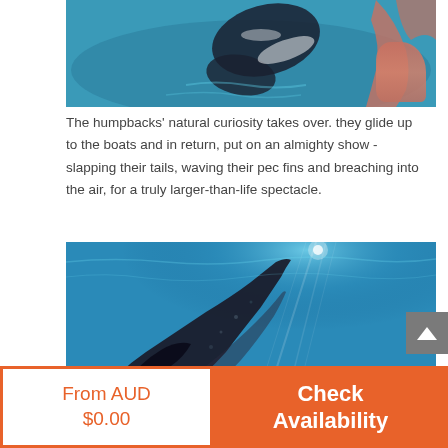[Figure (photo): Humpback whale tail or pec fin splashing at the water surface near a boat, with a person's arm reaching toward it, blue ocean water background]
The humpbacks' natural curiosity takes over. they glide up to the boats and in return, put on an almighty show - slapping their tails, waving their pec fins and breaching into the air, for a truly larger-than-life spectacle.
[Figure (photo): Underwater view of a humpback whale rising upward toward sunlit surface, blue ocean water with light rays visible]
From AUD
$0.00
Check
Availability